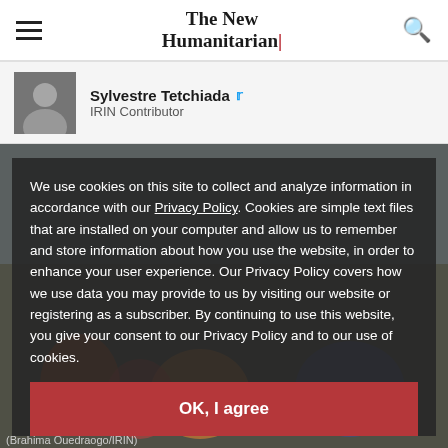The New Humanitarian
Sylvestre Tetchiada — IRIN Contributor
We use cookies on this site to collect and analyze information in accordance with our Privacy Policy. Cookies are simple text files that are installed on your computer and allow us to remember and store information about how you use the website, in order to enhance your user experience. Our Privacy Policy covers how we use data you may provide to us by visiting our website or registering as a subscriber. By continuing to use this website, you give your consent to our Privacy Policy and to our use of cookies.
OK, I agree
(Brahima Ouedraogo/IRIN)